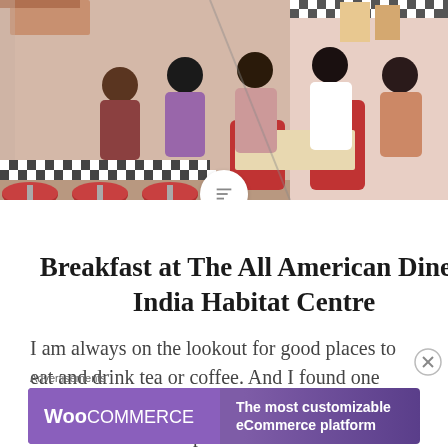[Figure (photo): Interior of an American-style diner with red booth seats and bar stools, people dining, black and white checkered tile trim, vintage posters on the wall.]
Breakfast at The All American Diner, India Habitat Centre
I am always on the lookout for good places to eat and drink tea or coffee. And I found one such place in the All American Diner in India Habitat Centre. The place
Advertisements
[Figure (screenshot): WooCommerce advertisement banner: 'The most customizable eCommerce platform']